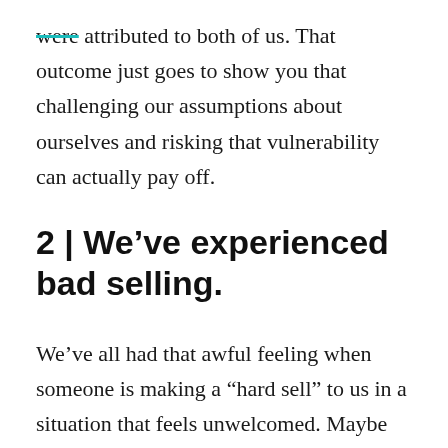were attributed to both of us. That outcome just goes to show you that challenging our assumptions about ourselves and risking that vulnerability can actually pay off.
2 | We’ve experienced bad selling.
We’ve all had that awful feeling when someone is making a “hard sell” to us in a situation that feels unwelcomed. Maybe it’s a sleazy car salesman trying to “close the